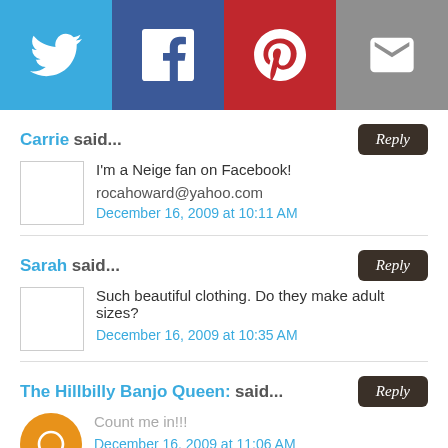[Figure (infographic): Social sharing bar with Twitter, Facebook, Pinterest, and Email icons on colored backgrounds]
Carrie said...
I'm a Neige fan on Facebook!

rocahoward@yahoo.com

December 16, 2009 at 10:11 AM
Sarah said...
Such beautiful clothing. Do they make adult sizes?

December 16, 2009 at 10:35 AM
The Hillbilly Banjo Queen: said...
Count me in!!!

December 16, 2009 at 11:06 AM